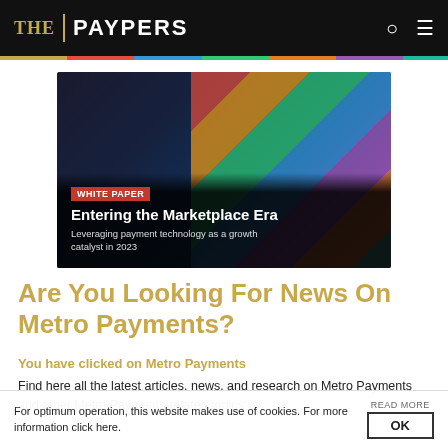THE | PAYPERS
[Figure (screenshot): White paper banner ad: 'Entering the Marketplace Era — Leveraging payment technology as a growth catalyst in 2023' over colorful umbrella market photo background]
Are You Looking For News On Metro Payments?
You have clicked on Metro Payments
Find here all the latest articles, news, and research on Metro Payments and other Metro Payments-related topics:
For optimum operation, this website makes use of cookies. For more information click here.